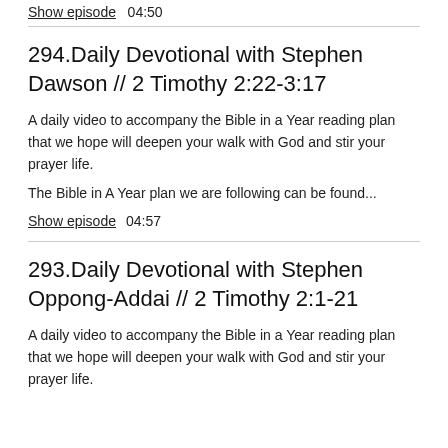Show episode  04:50
294.Daily Devotional with Stephen Dawson // 2 Timothy 2:22-3:17
A daily video to accompany the Bible in a Year reading plan that we hope will deepen your walk with God and stir your prayer life.
The Bible in A Year plan we are following can be found...
Show episode  04:57
293.Daily Devotional with Stephen Oppong-Addai // 2 Timothy 2:1-21
A daily video to accompany the Bible in a Year reading plan that we hope will deepen your walk with God and stir your prayer life.